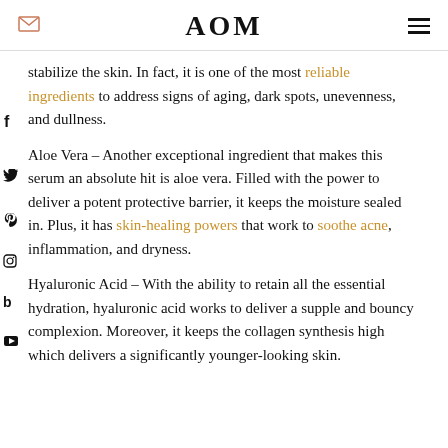AOM
stabilize the skin. In fact, it is one of the most reliable ingredients to address signs of aging, dark spots, unevenness, and dullness.
Aloe Vera – Another exceptional ingredient that makes this serum an absolute hit is aloe vera. Filled with the power to deliver a potent protective barrier, it keeps the moisture sealed in. Plus, it has skin-healing powers that work to soothe acne, inflammation, and dryness.
Hyaluronic Acid – With the ability to retain all the essential hydration, hyaluronic acid works to deliver a supple and bouncy complexion. Moreover, it keeps the collagen synthesis high which delivers a significantly younger-looking skin.